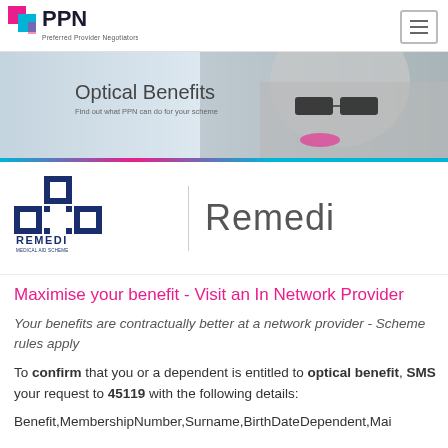[Figure (logo): PPN - Preferred Provider Negotiators logo with pink and blue squares]
[Figure (illustration): Optical Benefits banner with woman wearing glasses and text 'Find out what PPN can do for your scheme']
[Figure (logo): Remedi Medical Aid Scheme logo with blue cross and text 'YOUR HEALTH * YOUR FUTURE * YOUR FUND']
Remedi
Maximise your benefit - Visit an In Network Provider
Your benefits are contractually better at a network provider - Scheme rules apply
To confirm that you or a dependent is entitled to optical benefit, SMS your request to 45119 with the following details:
Benefit,MembershipNumber,Surname,BirthDateDependent,Mai